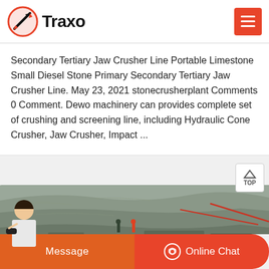Traxo
Secondary Tertiary Jaw Crusher Line Portable Limestone Small Diesel Stone Primary Secondary Tertiary Jaw Crusher Line. May 23, 2021 stonecrusherplant Comments 0 Comment. Dewo machinery can provides complete set of crushing and screening line, including Hydraulic Cone Crusher, Jaw Crusher, Impact ...
[Figure (photo): Quarry site with large rocky mountain face and machinery at the base, showing a stone crushing operation site]
Message
Online Chat